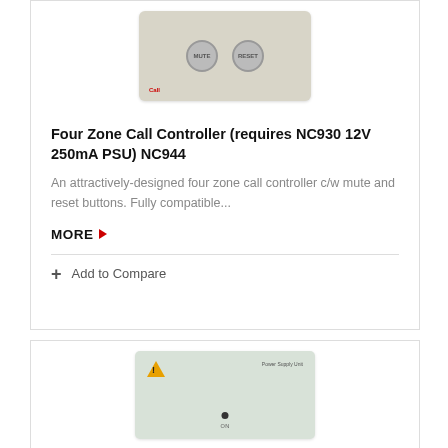[Figure (photo): Four Zone Call Controller device image showing two circular buttons (MUTE and RESET) on a beige panel with a red CALL label]
Four Zone Call Controller (requires NC930 12V 250mA PSU) NC944
An attractively-designed four zone call controller c/w mute and reset buttons. Fully compatible...
MORE ▶
+ Add to Compare
[Figure (photo): Power Supply Unit device image showing a pale green/grey panel with a warning triangle icon, a label reading Power Supply Unit, a dot indicator and ON label]